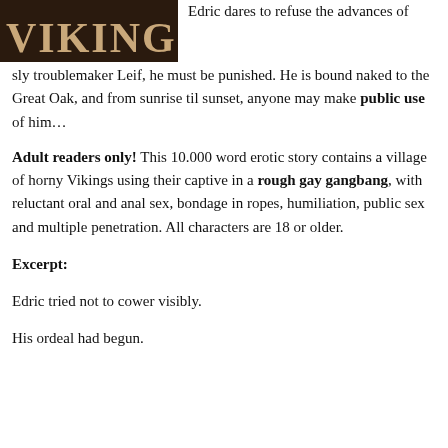[Figure (photo): Book cover with dark brown background and the word VIKINGS in large decorative serif text in cream/tan color]
Edric dares to refuse the advances of sly troublemaker Leif, he must be punished. He is bound naked to the Great Oak, and from sunrise til sunset, anyone may make public use of him…
Adult readers only! This 10.000 word erotic story contains a village of horny Vikings using their captive in a rough gay gangbang, with reluctant oral and anal sex, bondage in ropes, humiliation, public sex and multiple penetration. All characters are 18 or older.
Excerpt:
Edric tried not to cower visibly.
His ordeal had begun.